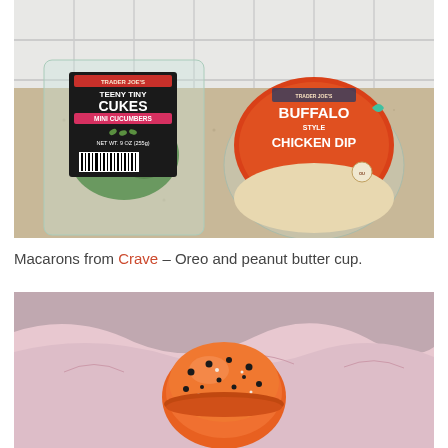[Figure (photo): Photo of two Trader Joe's products on a granite countertop with white subway tile backsplash: a package of 'Teeny Tiny Cukes Mini Cucumbers' (NET WT. 9 OZ / 255g) in a clear clamshell container with a black label, and a round container of 'Buffalo Style Chicken Dip' with an orange/red lid.]
Macarons from Crave – Oreo and peanut butter cup.
[Figure (photo): Photo of an orange macaron with black sugar pearl decorations, sitting in pink tissue paper inside a box.]